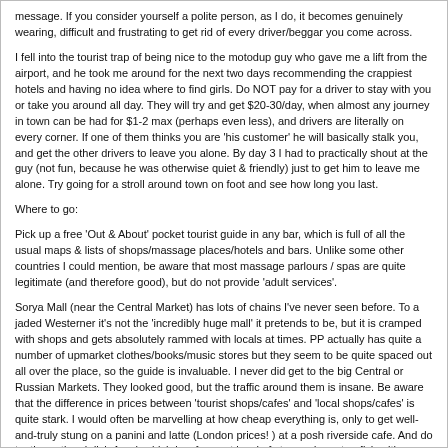message. If you consider yourself a polite person, as I do, it becomes genuinely wearing, difficult and frustrating to get rid of every driver/beggar you come across.
I fell into the tourist trap of being nice to the motodup guy who gave me a lift from the airport, and he took me around for the next two days recommending the crappiest hotels and having no idea where to find girls. Do NOT pay for a driver to stay with you or take you around all day. They will try and get $20-30/day, when almost any journey in town can be had for $1-2 max (perhaps even less), and drivers are literally on every corner. If one of them thinks you are 'his customer' he will basically stalk you, and get the other drivers to leave you alone. By day 3 I had to practically shout at the guy (not fun, because he was otherwise quiet & friendly) just to get him to leave me alone. Try going for a stroll around town on foot and see how long you last.
Where to go:
Pick up a free 'Out & About' pocket tourist guide in any bar, which is full of all the usual maps & lists of shops/massage places/hotels and bars. Unlike some other countries I could mention, be aware that most massage parlours / spas are quite legitimate (and therefore good), but do not provide 'adult services'.
Sorya Mall (near the Central Market) has lots of chains I've never seen before. To a jaded Westerner it's not the 'incredibly huge mall' it pretends to be, but it is cramped with shops and gets absolutely rammed with locals at times. PP actually has quite a number of upmarket clothes/books/music stores but they seem to be quite spaced out all over the place, so the guide is invaluable. I never did get to the big Central or Russian Markets. They looked good, but the traffic around them is insane. Be aware that the difference in prices between 'tourist shops/cafes' and 'local shops/cafes' is quite stark. I would often be marvelling at how cheap everything is, only to get well-and-truly stung on a panini and latte (London prices! ) at a posh riverside cafe. And do try the national dish Amok which is a fragrant bowl of steamed meat or fish with coconut milk; quite delicious.
Also, you must see Tuol Sleng (Phnom Penh's Genocide Musem). About $12 for entry and a personal guide, which doesn't last long but you won't get as much out of the tour otherwise. I had scant knowledge of the Khmer Rouge at